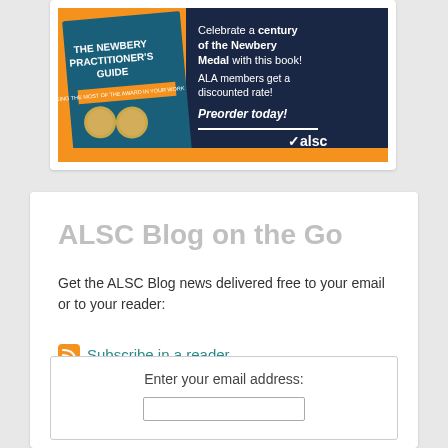[Figure (illustration): Advertisement for 'The Newbery Practitioner's Guide' book. Orange and dark navy background. Left side shows a dark teal book cover with gold Newbery medal. Right side text: 'Celebrate a century of the Newbery Medal with this book! ALA members get a discounted rate! Preorder today!' with ALSC logo at bottom right.]
ALSC Blog on the Go
Get the ALSC Blog news delivered free to your email or to your reader:
Subscribe in a reader
Enter your email address: